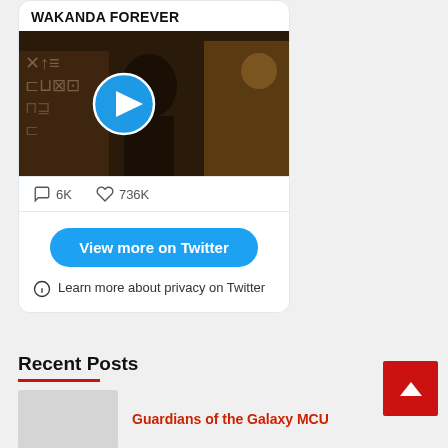WAKANDA FOREVER
[Figure (screenshot): Video thumbnail with Wakanda Forever imagery and a blue play button in the center]
6K   736K
View more on Twitter
Learn more about privacy on Twitter
Recent Posts
Guardians of the Galaxy  MCU